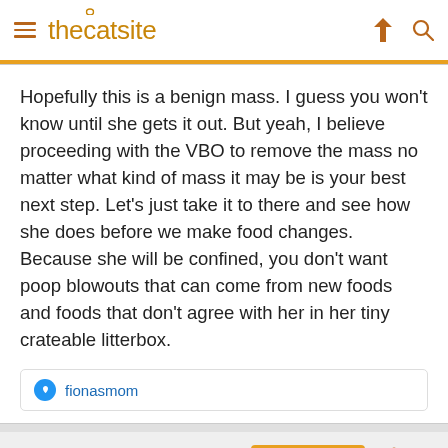thecatsite
Hopefully this is a benign mass. I guess you won't know until she gets it out. But yeah, I believe proceeding with the VBO to remove the mass no matter what kind of mass it may be is your best next step. Let's just take it to there and see how she does before we make food changes. Because she will be confined, you don't want poop blowouts that can come from new foods and foods that don't agree with her in her tiny crateable litterbox.
fionasmom
Jan 23, 2022   Thread Starter   #7
scoutandmaxine